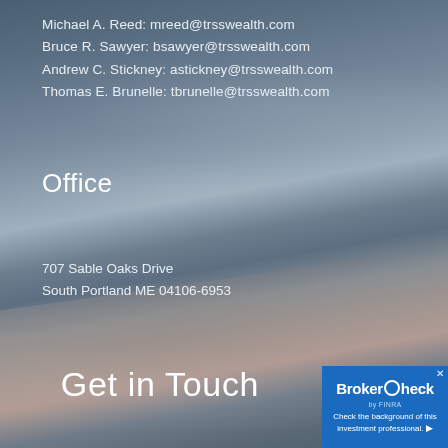Michael A. Reed: mreed@trsswealth.com
Bruce R. Sawyer: bsawyer@trsswealth.com
Andrew C. Stickney: astickney@trsswealth.com
Thomas E. Brunelle: tbrunelle@trsswealth.com
Office
707 Sable Oaks Drive
South Portland ME 04106-6953
Get in Touch
[Figure (logo): BrokerCheck by FINRA badge with text: Check the background of this investment professional.]